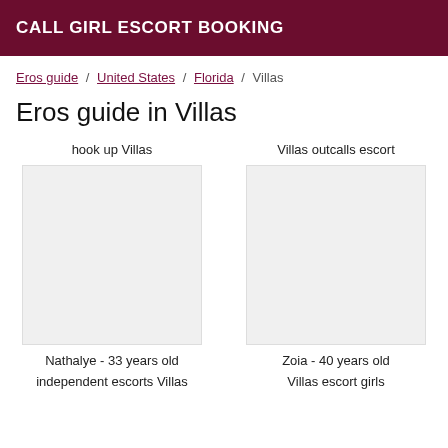CALL GIRL ESCORT BOOKING
Eros guide / United States / Florida / Villas
Eros guide in Villas
hook up Villas
Villas outcalls escort
Nathalye - 33 years old
Zoia - 40 years old
independent escorts Villas
Villas escort girls